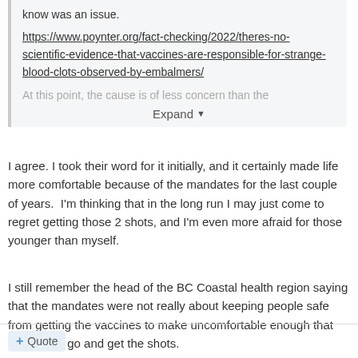know was an issue.
https://www.poynter.org/fact-checking/2022/theres-no-scientific-evidence-that-vaccines-are-responsible-for-strange-blood-clots-observed-by-embalmers/
At this point, the cause is of less concern than the
Expand
I agree. I took their word for it initially, and it certainly made life more comfortable because of the mandates for the last couple of years.  I'm thinking that in the long run I may just come to regret getting those 2 shots, and I'm even more afraid for those younger than myself.
I still remember the head of the BC Coastal health region saying that the mandates were not really about keeping people safe from getting the vaccines to make uncomfortable enough that people will go and get the shots.
+ Quote